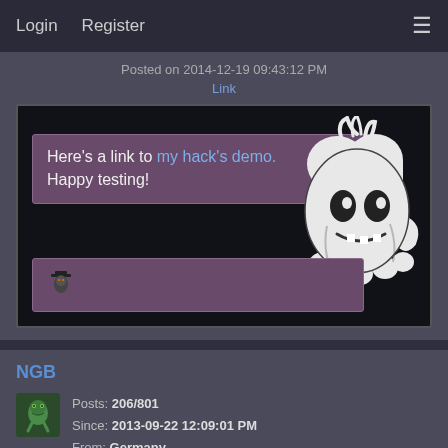Login   Register
Posted on 2014-12-19 09:43:12 PM
Link
[Figure (screenshot): Embedded forum post screenshot showing purple text boxes with message 'Here's a link to my hack's demo. Happy testing!' and a ghost character sprite on black background]
NGB
Posts: 206/801
Since: 2013-09-22 12:09:01 PM
From: Germany
Last seen: 1 hour, 22 minutes and 1 second ago
Posted on 2014-12-19 10:08:28 PM